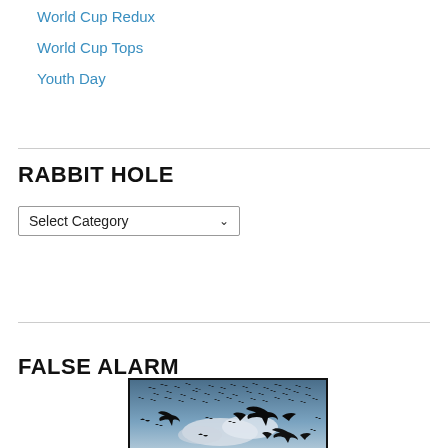World Cup Redux
World Cup Tops
Youth Day
RABBIT HOLE
Select Category
FALSE ALARM
[Figure (photo): Flock of birds (crows/ravens) silhouetted against a cloudy blue sky, with several large birds in flight in the foreground and a dense swarm in the background.]